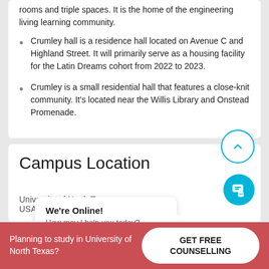rooms and triple spaces. It is the home of the engineering living learning community.
Crumley hall is a residence hall located on Avenue C and Highland Street. It will primarily serve as a housing facility for the Latin Dreams cohort from 2022 to 2023.
Crumley is a small residential hall that features a close-knit community. It's located near the Willis Library and Onstead Promenade.
Campus Location
[Figure (screenshot): Chat popup with 'We're Online! How may I help you today?' and a circular cyan chat icon button]
University of North Texas, USA, Denton
Planning to study in University of North Texas?
GET FREE COUNSELLING